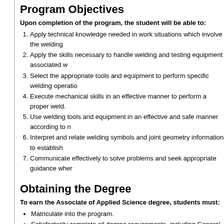Program Objectives
Upon completion of the program, the student will be able to:
1. Apply technical knowledge needed in work situations which involve the welding
2. Apply the skills necessary to handle welding and testing equipment associated w
3. Select the appropriate tools and equipment to perform specific welding operatio
4. Execute mechanical skills in an effective manner to perform a proper weld.
5. Use welding tools and equipment in an effective and safe manner according to n
6. Interpret and relate welding symbols and joint geometry information to establish
7. Communicate effectively to solve problems and seek appropriate guidance wher
Obtaining the Degree
To earn the Associate of Applied Science degree, students must:
Matriculate into the program.
Satisfactorily complete all degree requirements, including General Education an
General Education Requirements
ACP 100 - Academic and Career Planning
CIT 100 - Microcomputer Applications
COM 101 - Public Speaking
ENG 110 - English Composition I**
LIF 111 - Health and Well...